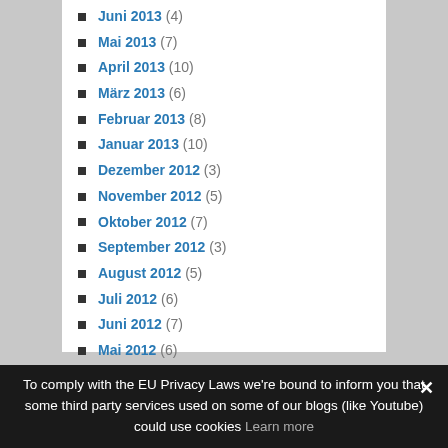Juni 2013 (4)
Mai 2013 (7)
April 2013 (10)
März 2013 (6)
Februar 2013 (8)
Januar 2013 (10)
Dezember 2012 (3)
November 2012 (5)
Oktober 2012 (7)
September 2012 (3)
August 2012 (5)
Juli 2012 (6)
Juni 2012 (7)
Mai 2012 (6)
April 2012 (5)
März 2012 (11)
Februar 2012 (15)
Januar 2012 (19)
To comply with the EU Privacy Laws we're bound to inform you that some third party services used on some of our blogs (like Youtube) could use cookies Learn more